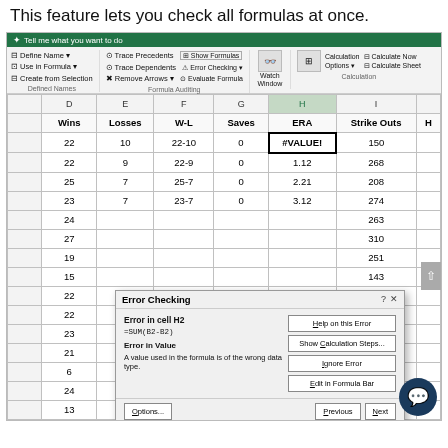This feature lets you check all formulas at once.
[Figure (screenshot): Microsoft Excel ribbon showing Formulas tab with Define Name, Use in Formula, Create from Selection, Trace Precedents, Trace Dependents, Remove Arrows, Show Formulas, Error Checking, Evaluate Formula, Watch Window, Calculation Options, Calculate Now, Calculate Sheet buttons. Below is a spreadsheet with columns D (Wins), E (Losses), F (W-L), G (Saves), H (ERA), I (Strike Outs). Column H is selected/highlighted. First data row shows #VALUE! error in H column. An Error Checking dialog box is open showing 'Error in cell H2', formula '=SUM(B2-B2)', 'Error in Value', description 'A value used in the formula is of the wrong data type', with buttons: Help on this Error, Show Calculation Steps..., Ignore Error, Edit in Formula Bar, Options..., Previous, Next.]